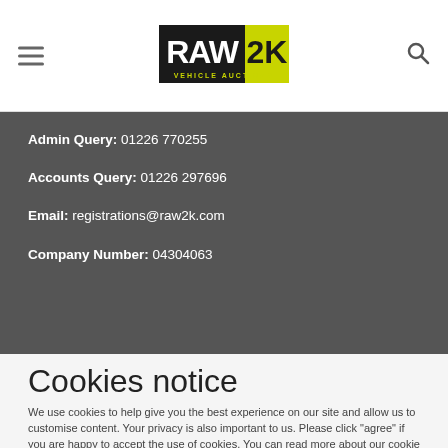RAW2K VEHICLE AUCTIONS [logo with hamburger menu and search icon]
Admin Query: 01226 770255
Accounts Query: 01226 297696
Email: registrations@raw2k.com
Company Number: 04304063
Cookies notice
We use cookies to help give you the best experience on our site and allow us to customise content. Your privacy is also important to us. Please click "agree" if you are happy to accept the use of cookies. You can read more about our cookie policy by clicking here